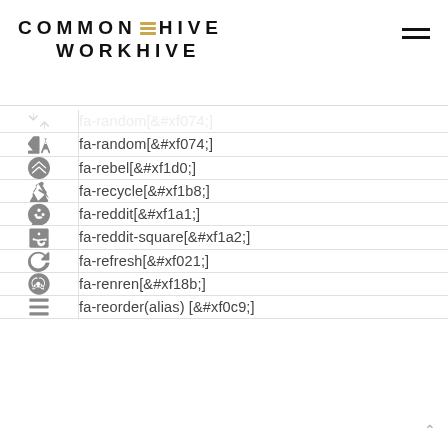COMMON HIVE WORKHIVE
| Icon | Name |
| --- | --- |
| [icon: shuffle/random] | fa-random[&#xf074;] |
| [icon: rebel] | fa-rebel[&#xf1d0;] |
| [icon: recycle] | fa-recycle[&#xf1b8;] |
| [icon: reddit] | fa-reddit[&#xf1a1;] |
| [icon: reddit-square] | fa-reddit-square[&#xf1a2;] |
| [icon: refresh] | fa-refresh[&#xf021;] |
| [icon: renren] | fa-renren[&#xf18b;] |
| [icon: reorder] | fa-reorder(alias) [&#xf0c9;] |